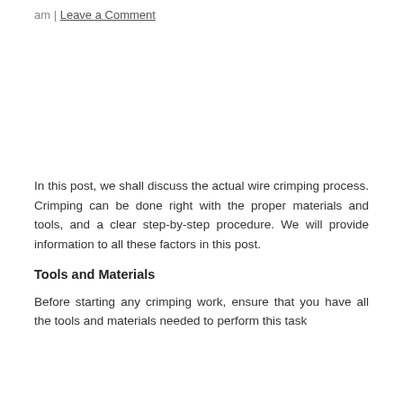am | Leave a Comment
In this post, we shall discuss the actual wire crimping process. Crimping can be done right with the proper materials and tools, and a clear step-by-step procedure. We will provide information to all these factors in this post.
Tools and Materials
Before starting any crimping work, ensure that you have all the tools and materials needed to perform this task